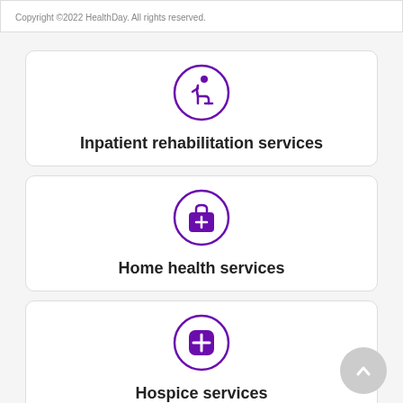Copyright ©2022 HealthDay. All rights reserved.
[Figure (illustration): Purple circle icon with a person in rehabilitation/seated position]
Inpatient rehabilitation services
[Figure (illustration): Purple circle icon with a medical kit/first aid bag with a plus sign]
Home health services
[Figure (illustration): Purple circle icon with a medical cross/plus symbol]
Hospice services